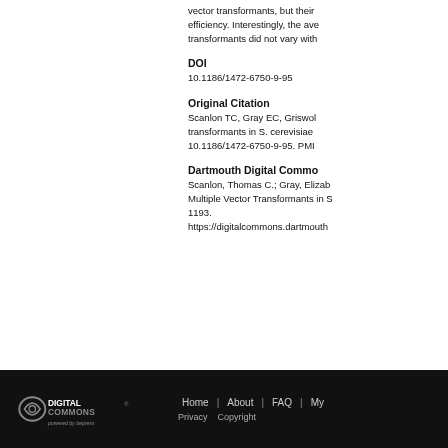vector transformants, but their efficiency. Interestingly, the ave transformants did not vary with
DOI
10.1186/1472-6750-9-95
Original Citation
Scanlon TC, Gray EC, Griswol transformants in S. cerevisiae 10.1186/1472-6750-9-95. PMI
Dartmouth Digital Commo
Scanlon, Thomas C.; Gray, Elizab Multiple Vector Transformants in S 1193.
https://digitalcommons.dartmouth
Home | About | FAQ | My Privacy Copyright